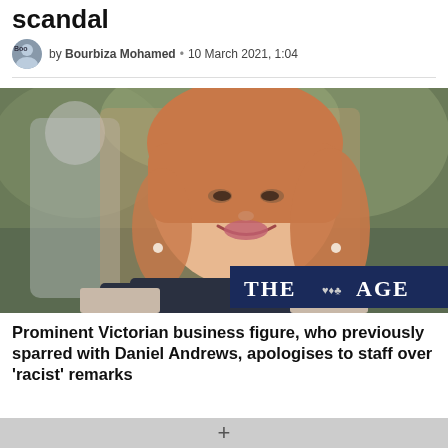scandal
by Bourbiza Mohamed · 10 March 2021, 1:04
[Figure (photo): Close-up photo of a woman with red/auburn hair, smiling, wearing a dark scarf and light jacket. A second woman is blurred in the background. The Age newspaper banner is visible in the foreground lower right.]
Prominent Victorian business figure, who previously sparred with Daniel Andrews, apologises to staff over 'racist' remarks